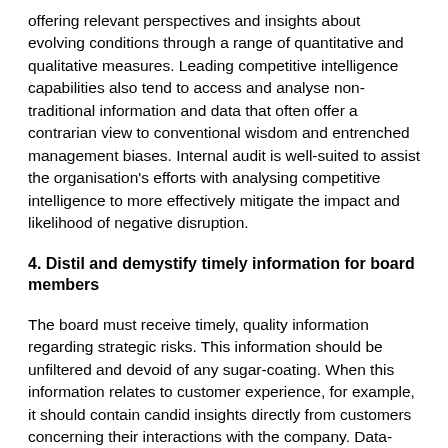offering relevant perspectives and insights about evolving conditions through a range of quantitative and qualitative measures. Leading competitive intelligence capabilities also tend to access and analyse non-traditional information and data that often offer a contrarian view to conventional wisdom and entrenched management biases. Internal audit is well-suited to assist the organisation's efforts with analysing competitive intelligence to more effectively mitigate the impact and likelihood of negative disruption.
4. Distil and demystify timely information for board members
The board must receive timely, quality information regarding strategic risks. This information should be unfiltered and devoid of any sugar-coating. When this information relates to customer experience, for example, it should contain candid insights directly from customers concerning their interactions with the company. Data-driven insights on new and emerging strategic risks from internal audit are valuable on this count because they provide evidence-based clarity from an independent source. The more forward-looking these data-driven insights are, the better